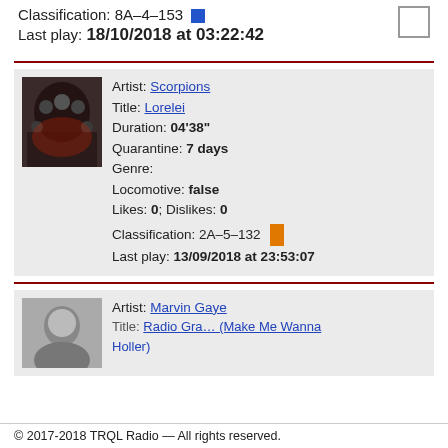Classification: 8A–4–153 [blue indicator]
Last play: 18/10/2018 at 03:22:42
Artist: Scorpions | Title: Lorelei | Duration: 04'38" | Quarantine: 7 days | Genre: | Locomotive: false | Likes: 0; Dislikes: 0 | Classification: 2A–5–132 [orange indicator] | Last play: 13/09/2018 at 23:53:07
Artist: Marvin Gaye
© 2017-2018 TRQL Radio — All rights reserved.